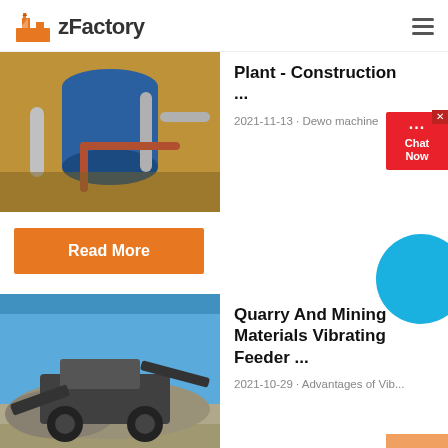zFactory
[Figure (photo): Industrial plant with large blue cylindrical tank and metallic pipes]
Plant - Construction ...
2021-11-13 · Dewo machine
Read More
[Figure (photo): Quarry mining machine in rocky terrain under blue sky]
Quarry And Mining Materials Vibrating Feeder ...
2021-10-29 · Advantages of Vib...